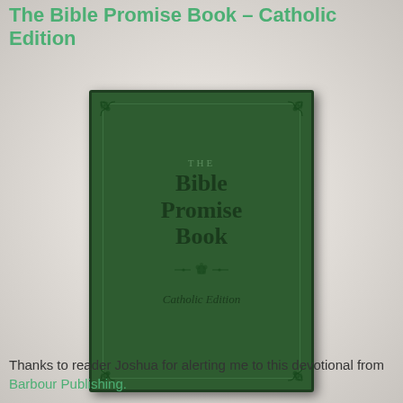The Bible Promise Book – Catholic Edition
[Figure (photo): Book cover of 'The Bible Promise Book – Catholic Edition' by Barbour Publishing. Dark green leatherette cover with ornate corner decorations, decorative border, title text reading 'THE BIBLE PROMISE BOOK' in embossed serif type, a floral ornament, and 'Catholic Edition' in italic script below.]
Thanks to reader Joshua for alerting me to this devotional from Barbour Publishing.